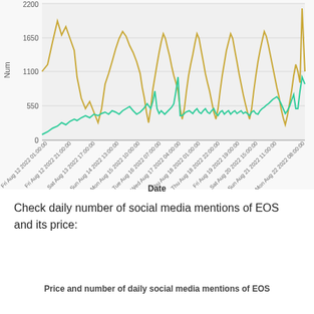[Figure (continuous-plot): Dual-line time series chart. Gold/yellow line shows social media mention counts (scale 0-2200+) oscillating between ~1100 and ~2200. Green line shows EOS price or secondary metric (scale 0-550) mostly near 0-100 with spikes around Aug 18 (~550) and rising trend at end. X-axis shows dates from Fri Aug 12 2022 01:00:00 to Mon Aug 22 2022 08:00:00. Y-axis label: 'Num'. X-axis label: 'Date'.]
Check daily number of social media mentions of EOS and its price:
Price and number of daily social media mentions of EOS